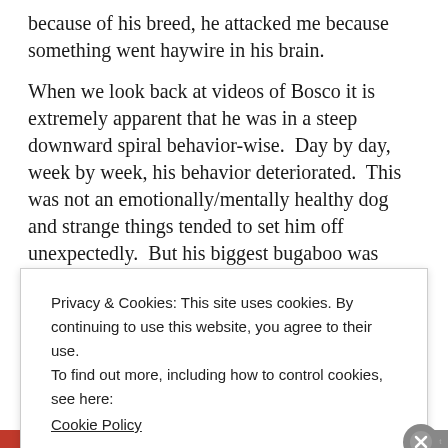because of his breed, he attacked me because something went haywire in his brain.
When we look back at videos of Bosco it is extremely apparent that he was in a steep downward spiral behavior-wise.  Day by day, week by week, his behavior deteriorated.  This was not an emotionally/mentally healthy dog and strange things tended to set him off unexpectedly.  But his biggest bugaboo was “stranger danger” and we could not safely have any other person
Privacy & Cookies: This site uses cookies. By continuing to use this website, you agree to their use.
To find out more, including how to control cookies, see here: Cookie Policy
Close and accept